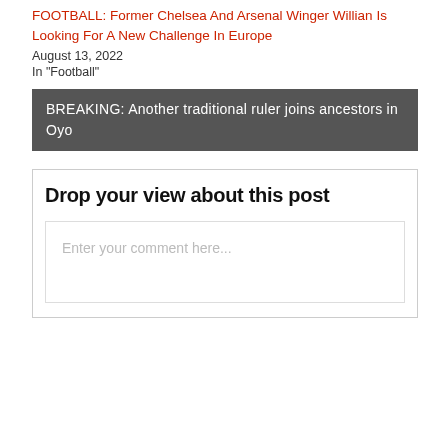FOOTBALL: Former Chelsea And Arsenal Winger Willian Is Looking For A New Challenge In Europe
August 13, 2022
In "Football"
BREAKING: Another traditional ruler joins ancestors in Oyo
Drop your view about this post
Enter your comment here...